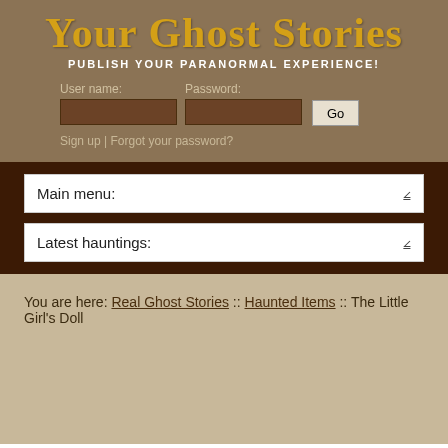[Figure (logo): Your Ghost Stories website logo with yellow-gold serif text on brown background, subtitle: PUBLISH YOUR PARANORMAL EXPERIENCE!]
User name:   Password:
Sign up | Forgot your password?
Main menu:
Latest hauntings:
You are here: Real Ghost Stories :: Haunted Items :: The Little Girl's Doll